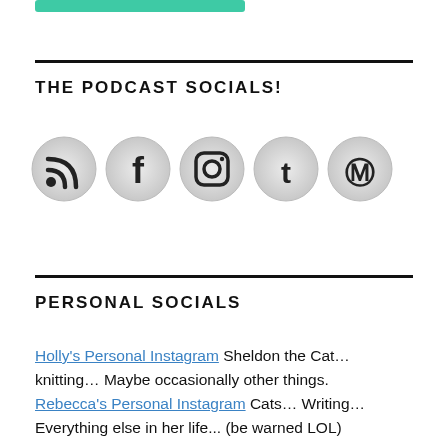THE PODCAST SOCIALS!
[Figure (illustration): Row of five social media icons (RSS, Facebook, Instagram, Twitter, Pinterest) as circular grey gradient buttons with black symbols]
PERSONAL SOCIALS
Holly's Personal Instagram Sheldon the Cat… knitting… Maybe occasionally other things. Rebecca's Personal Instagram Cats… Writing… Everything else in her life... (be warned LOL)